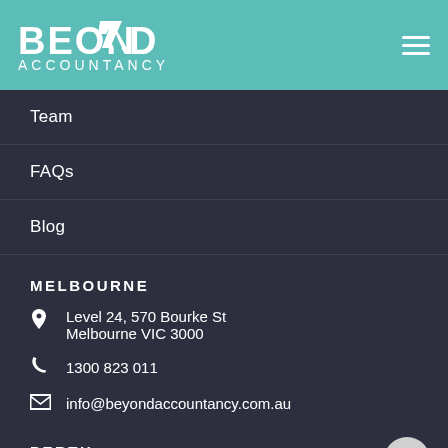[Figure (logo): Beyond Accountancy logo on teal background with hamburger menu icon]
Team
FAQs
Blog
MELBOURNE
Level 24, 570 Bourke St
Melbourne VIC 3000
1300 823 011
info@beyondaccountancy.com.au
PERTH
Level 17, 2 The Esplanade